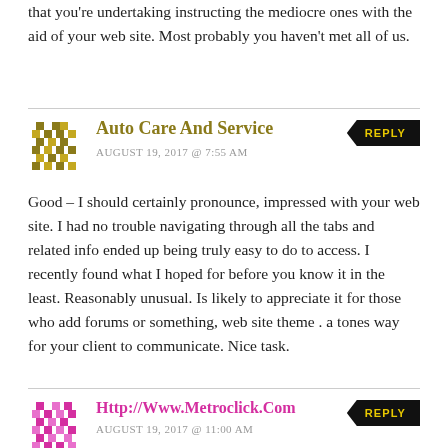that you're undertaking instructing the mediocre ones with the aid of your web site. Most probably you haven't met all of us.
Auto Care And Service
AUGUST 19, 2017 @ 7:55 AM
Good – I should certainly pronounce, impressed with your web site. I had no trouble navigating through all the tabs and related info ended up being truly easy to do to access. I recently found what I hoped for before you know it in the least. Reasonably unusual. Is likely to appreciate it for those who add forums or something, web site theme . a tones way for your client to communicate. Nice task.
Http://Www.Metroclick.Com
AUGUST 19, 2017 @ 11:00 AM